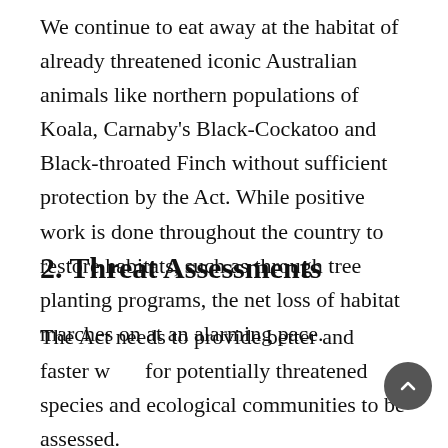We continue to eat away at the habitat of already threatened iconic Australian animals like northern populations of Koala, Carnaby's Black-Cockatoo and Black-throated Finch without sufficient protection by the Act. While positive work is done throughout the country to restore habitats, such as through tree planting programs, the net loss of habitat marches on at an alarming pace.
2. Threat Assessments
The Act needs to provide better and faster ways for potentially threatened species and ecological communities to be assessed.